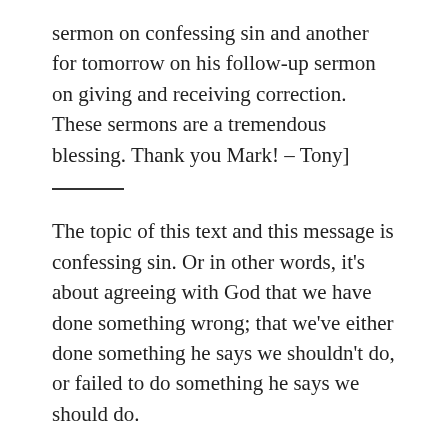sermon on confessing sin and another for tomorrow on his follow-up sermon on giving and receiving correction. These sermons are a tremendous blessing. Thank you Mark! – Tony]
The topic of this text and this message is confessing sin. Or in other words, it's about agreeing with God that we have done something wrong; that we've either done something he says we shouldn't do, or failed to do something he says we should do.
We are addressing this topic because